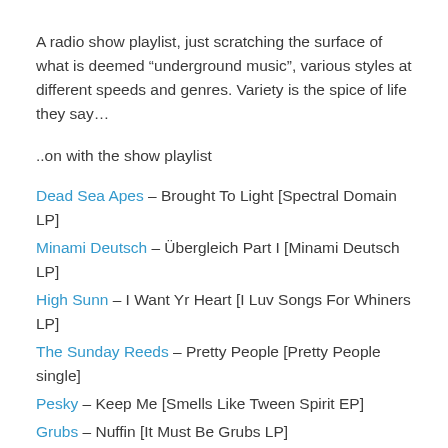A radio show playlist, just scratching the surface of what is deemed “underground music”, various styles at different speeds and genres. Variety is the spice of life they say…
..on with the show playlist
Dead Sea Apes – Brought To Light [Spectral Domain LP]
Minami Deutsch – Übergleich Part I [Minami Deutsch LP]
High Sunn – I Want Yr Heart [I Luv Songs For Whiners LP]
The Sunday Reeds – Pretty People [Pretty People single]
Pesky – Keep Me [Smells Like Tween Spirit EP]
Grubs – Nuffin [It Must Be Grubs LP]